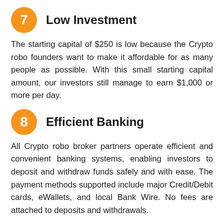7 Low Investment
The starting capital of $250 is low because the Crypto robo founders want to make it affordable for as many people as possible. With this small starting capital amount, our investors still manage to earn $1,000 or more per day.
8 Efficient Banking
All Crypto robo broker partners operate efficient and convenient banking systems, enabling investors to deposit and withdraw funds safely and with ease. The payment methods supported include major Credit/Debit cards, eWallets, and local Bank Wire. No fees are attached to deposits and withdrawals.